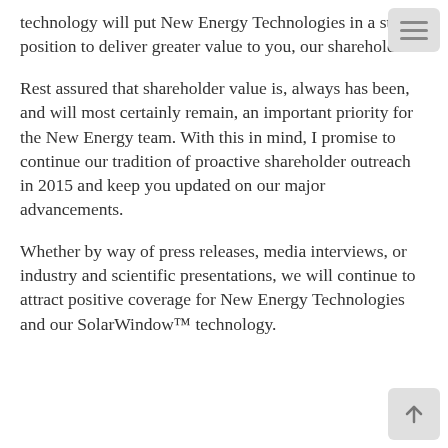technology will put New Energy Technologies in a strong position to deliver greater value to you, our shareholders.
Rest assured that shareholder value is, always has been, and will most certainly remain, an important priority for the New Energy team. With this in mind, I promise to continue our tradition of proactive shareholder outreach in 2015 and keep you updated on our major advancements.
Whether by way of press releases, media interviews, or industry and scientific presentations, we will continue to attract positive coverage for New Energy Technologies and our SolarWindow™ technology.